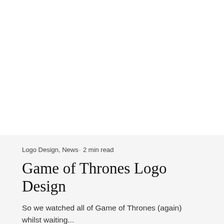Logo Design, News· 2 min read
Game of Thrones Logo Design
So we watched all of Game of Thrones (again) whilst waiting...